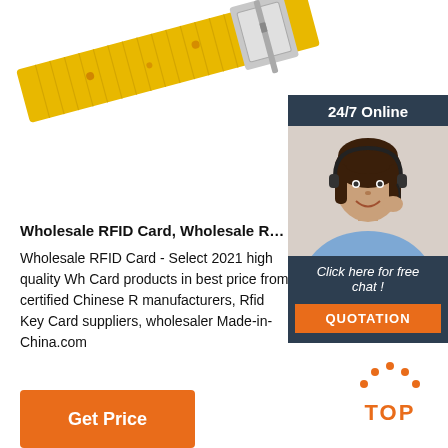[Figure (photo): Yellow/gold nylon wristband with silver buckle, shown at an angle on white background]
[Figure (infographic): 24/7 Online customer support widget showing a woman with headset, 'Click here for free chat!' text, and an orange QUOTATION button]
Wholesale RFID Card, Wholesale RFID Card Manu
Wholesale RFID Card - Select 2021 high quality Wh Card products in best price from certified Chinese R manufacturers, Rfid Key Card suppliers, wholesaler Made-in-China.com
Get Price
[Figure (logo): Orange TOP icon with dots arranged in an arch above the word TOP]